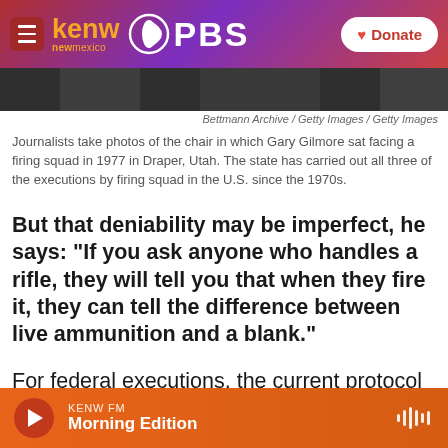KENW New Mexico PBS | Donate
[Figure (photo): Black and white photo strip showing a person, partially visible]
Bettmann Archive / Getty Images / Getty Images
Journalists take photos of the chair in which Gary Gilmore sat facing a firing squad in 1977 in Draper, Utah. The state has carried out all three of the executions by firing squad in the U.S. since the 1970s.
But that deniability may be imperfect, he says: "If you ask anyone who handles a rifle, they will tell you that when they fire it, they can tell the difference between live ammunition and a blank."
For federal executions, the current protocol is a lethal injection of compounded pentobarbital.
KENW FM Morning Edition